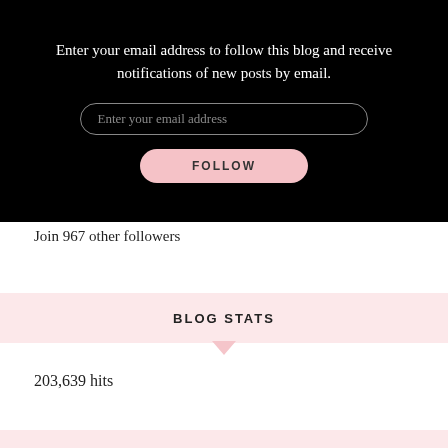Enter your email address to follow this blog and receive notifications of new posts by email.
Enter your email address
FOLLOW
Join 967 other followers
BLOG STATS
203,639 hits